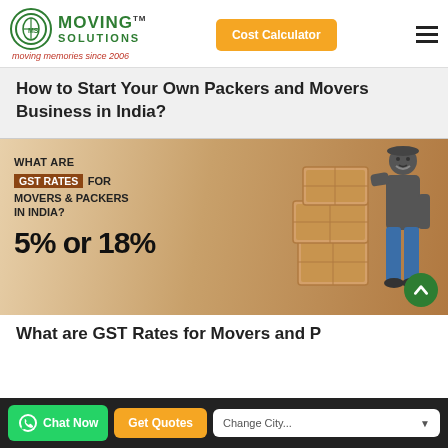Moving Solutions — moving memories since 2006
How to Start Your Own Packers and Movers Business in India?
[Figure (infographic): Infographic showing GST rates for movers and packers in India — 'What are GST Rates for Movers & Packers in India? 5% or 18%' with a man leaning on stacked cardboard boxes]
What are GST Rates for Movers and Packers in India?